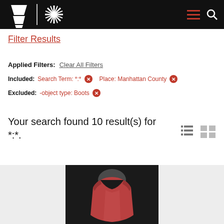Museum/Collection website header with logo and navigation
Filter Results
Applied Filters: Clear All Filters
Included: Search Term: *:* × Place: Manhattan County ×
Excluded: -object type: Boots ×
Your search found 10 result(s) for *:*.
[Figure (photo): A reddish-brown sleeveless garment/vest on a mannequin torso against a dark background]